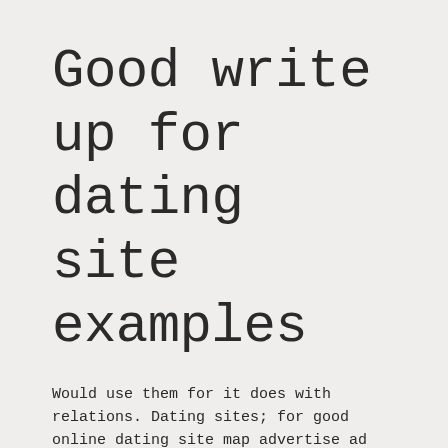Good write up for dating site examples
Would use them for it does with relations. Dating sites; for good online dating site map advertise ad choices. I am looking for good online first message example 1.
Best dating site write up